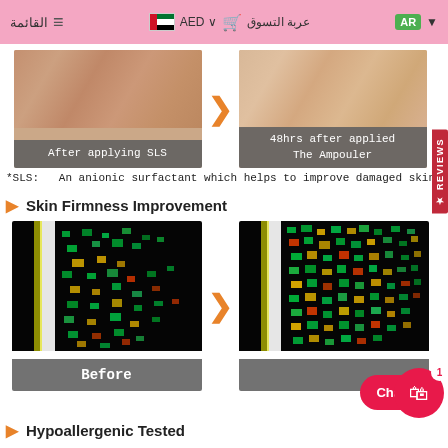القائمة  AED  عربة التسوق  AR
[Figure (photo): Before/after comparison of skin texture: left shows skin after applying SLS (damaged texture), right shows skin 48hrs after applied The Ampouler (improved texture). Orange arrow pointing right between images.]
*SLS:   An anionic surfactant which helps to improve damaged skin textu
Skin Firmness Improvement
[Figure (photo): Before/after microscope fluorescence images of skin firmness: left shows 'Before' with scattered green/yellow/orange/red particles on black background with white streak. Right shows 'After' with denser particle distribution indicating improved skin firmness. Orange arrow pointing right between images.]
Chat wit
Hypoallergenic Tested